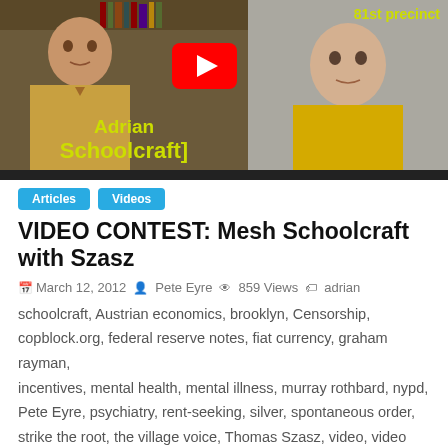[Figure (screenshot): YouTube video thumbnail showing Adrian Schoolcraft, with text '81st precinct', 'Adrian Schoolcraft' in yellow, and a YouTube play button.]
Articles
Videos
VIDEO CONTEST: Mesh Schoolcraft with Szasz
March 12, 2012  Pete Eyre  859 Views  adrian schoolcraft, Austrian economics, brooklyn, Censorship, copblock.org, federal reserve notes, fiat currency, graham rayman, incentives, mental health, mental illness, murray rothbard, nypd, Pete Eyre, psychiatry, rent-seeking, silver, spontaneous order, strike the root, the village voice, Thomas Szasz, video, video contest
[content cross-posted to CopBlock.org from